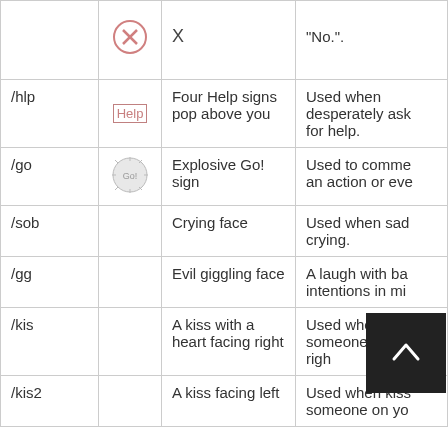| Command | Icon | Description | Usage |
| --- | --- | --- | --- |
|  | X (icon) | X | "No.". |
| /hlp | Help (icon) | Four Help signs pop above you | Used when desperately asking for help. |
| /go | (go icon) | Explosive Go! sign | Used to comment an action or eve... |
| /sob |  | Crying face | Used when sad or crying. |
| /gg |  | Evil giggling face | A laugh with bad intentions in mi... |
| /kis |  | A kiss with a heart facing right | Used when kissing someone on your right... |
| /kis2 |  | A kiss facing left | Used when kissing someone on yo... |